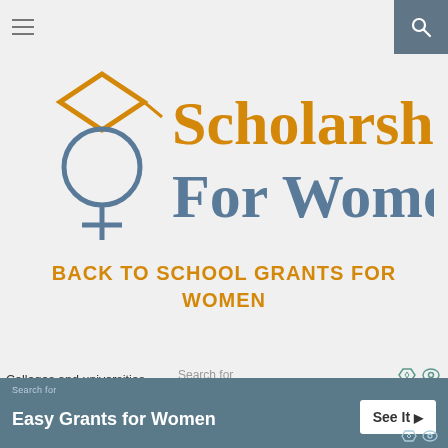[Figure (logo): Navigation bar with hamburger menu icon and search icon]
[Figure (logo): Scholarships For Women logo with graduation cap and female symbol, text in orange and slate blue]
BACK TO SCHOOL GRANTS FOR WOMEN
Colleges and universities across the...
Search for
[Figure (screenshot): Search input box with graduation cap icon outline and orange border]
Search for
Easy Grants for Women
See It >